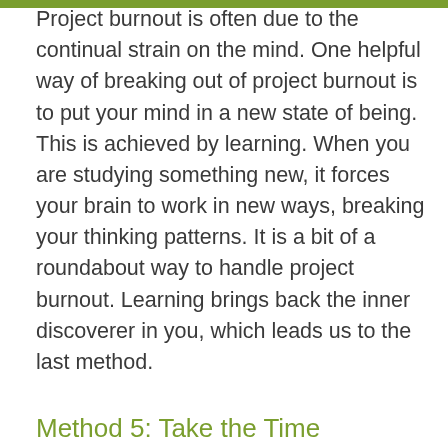Project burnout is often due to the continual strain on the mind. One helpful way of breaking out of project burnout is to put your mind in a new state of being. This is achieved by learning. When you are studying something new, it forces your brain to work in new ways, breaking your thinking patterns. It is a bit of a roundabout way to handle project burnout. Learning brings back the inner discoverer in you, which leads us to the last method.
Method 5: Take the Time